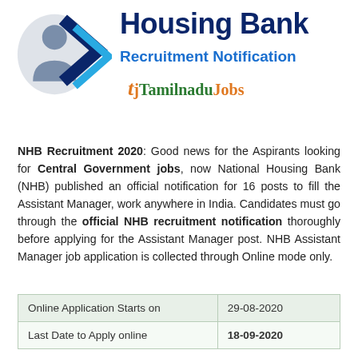[Figure (logo): National Housing Bank logo with shield/person icon and blue chevron arrows, alongside 'Housing Bank' text in dark navy blue bold, 'Recruitment Notification' in blue, and 'TamilnaduJobs' branding]
NHB Recruitment 2020: Good news for the Aspirants looking for Central Government jobs, now National Housing Bank (NHB) published an official notification for 16 posts to fill the Assistant Manager, work anywhere in India. Candidates must go through the official NHB recruitment notification thoroughly before applying for the Assistant Manager post. NHB Assistant Manager job application is collected through Online mode only.
| Online Application Starts on | 29-08-2020 |
| Last Date to Apply online | 18-09-2020 |